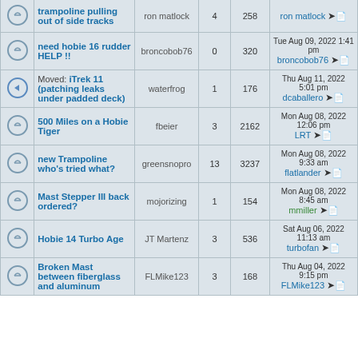|  | Topic | Author | Replies | Views | Last post |
| --- | --- | --- | --- | --- | --- |
| [icon] | trampoline pulling out of side tracks | ron matlock | 4 | 258 | ron matlock |
| [icon] | need hobie 16 rudder HELP !! | broncobob76 | 0 | 320 | Tue Aug 09, 2022 1:41 pm broncobob76 |
| [icon] | Moved: iTrek 11 (patching leaks under padded deck) | waterfrog | 1 | 176 | Thu Aug 11, 2022 5:01 pm dcaballero |
| [icon] | 500 Miles on a Hobie Tiger | fbeier | 3 | 2162 | Mon Aug 08, 2022 12:06 pm LRT |
| [icon] | new Trampoline who's tried what? | greensnopro | 13 | 3237 | Mon Aug 08, 2022 9:33 am flatlander |
| [icon] | Mast Stepper III back ordered? | mojorizing | 1 | 154 | Mon Aug 08, 2022 8:45 am mmiller |
| [icon] | Hobie 14 Turbo Age | JT Martenz | 3 | 536 | Sat Aug 06, 2022 11:13 am turbofan |
| [icon] | Broken Mast between fiberglass and aluminum | FLMike123 | 3 | 168 | Thu Aug 04, 2022 9:15 pm FLMike123 |